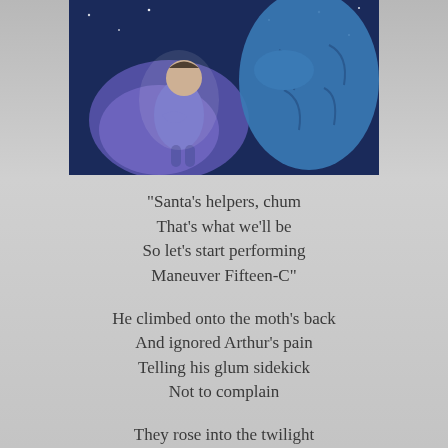[Figure (illustration): Animated cartoon image showing two figures — a person in a blue/purple outfit and a large blue muscular figure — against a dark night background with stars.]
“Santa’s helpers, chum
That’s what we’ll be
So let’s start performing
Maneuver Fifteen-C”
He climbed onto the moth’s back
And ignored Arthur’s pain
Telling his glum sidekick
Not to complain
They rose into the twilight
Past the Chairface-marred moon
“Merry Christmas!” he thundered
“And to all I say SPOON!”